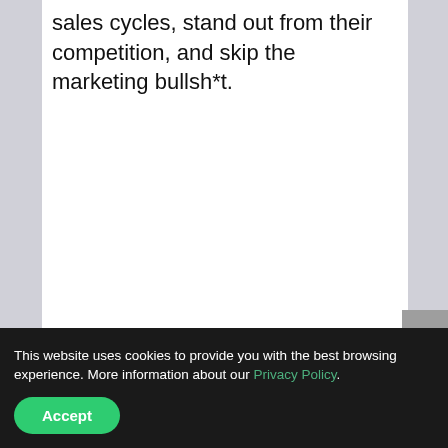sales cycles, stand out from their competition, and skip the marketing bullsh*t.
S... ht, Di i l Bl t b...
This website uses cookies to provide you with the best browsing experience. More information about our Privacy Policy.